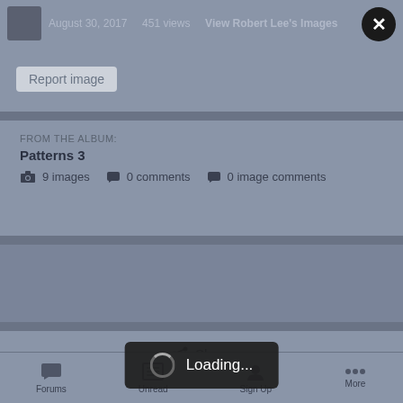August 30, 2017   451 views   View Robert Lee's Images
Report image
FROM THE ALBUM:
Patterns 3
9 images   0 comments   0 image comments
Share
Followers   0
Loading...
Forums   Unread   Sign Up   More